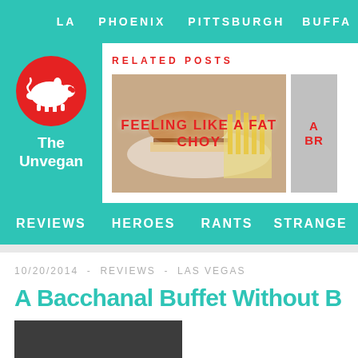LA   PHOENIX   PITTSBURGH   BUFFA
[Figure (logo): The Unvegan logo: red circle with white pig silhouette on teal background, text 'The Unvegan' below]
RELATED POSTS
[Figure (photo): Photo of a burger and fries on a plate with overlay text 'Feeling Like a Fat Choy' in red]
[Figure (photo): Partially visible related post card with red text 'A Br...' on gray background]
REVIEWS   HEROES   RANTS   STRANGE
10/20/2014   -   REVIEWS   -   LAS VEGAS
A Bacchanal Buffet Without B